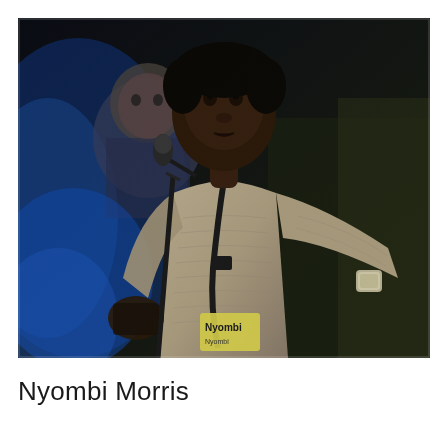[Figure (photo): A young Black man wearing a cream/beige knit sweater speaks at a microphone stand. He has a lanyard with a name badge reading 'Nyombi' around his neck and wears a smartwatch. He gestures with one hand near his chest. In the background, an older man and blue lighting are visible, suggesting an indoor event or conference setting.]
Nyombi Morris